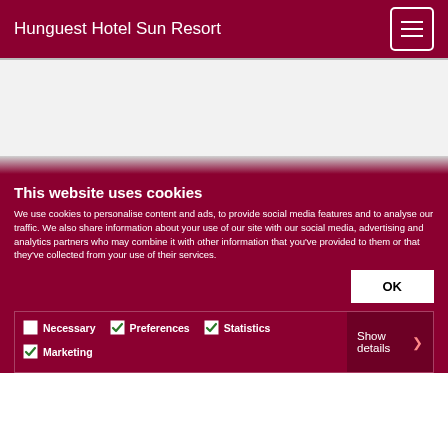Hunguest Hotel Sun Resort
[Figure (screenshot): Website screenshot with white/gray background area for hotel image]
This website uses cookies
We use cookies to personalise content and ads, to provide social media features and to analyse our traffic. We also share information about your use of our site with our social media, advertising and analytics partners who may combine it with other information that you've provided to them or that they've collected from your use of their services.
OK
Necessary  Preferences  Statistics  Marketing  Show details